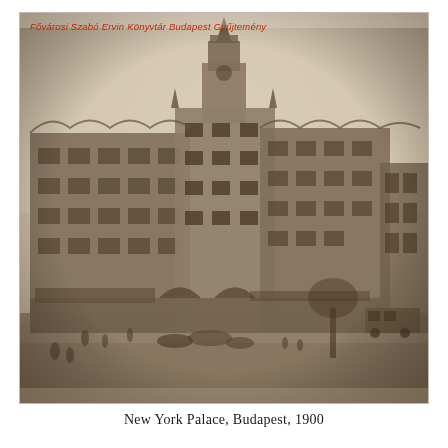[Figure (photo): Sepia-toned historical photograph of the New York Palace building in Budapest, taken in 1900. The ornate Eclectic/Baroque style building features a prominent central tower/spire, elaborate facade decorations, arched windows, and multiple stories. Horse-drawn carriages and pedestrians are visible in the street in front. A tram and other buildings are visible on the right side. A watermark in red italic text reads 'Fővárosi Szabó Ervin Könyvtár Budapest Gyűjtemény' at the top left of the photograph.]
New York Palace, Budapest, 1900